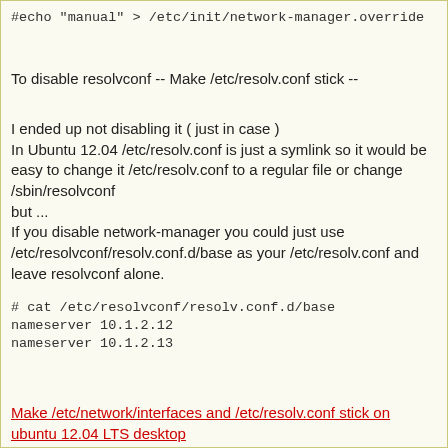#echo "manual" > /etc/init/network-manager.override
To disable resolvconf -- Make /etc/resolv.conf stick --
I ended up not disabling it ( just in case )
In Ubuntu 12.04 /etc/resolv.conf is just a symlink so it would be easy to change it /etc/resolv.conf to a regular file or change /sbin/resolvconf
but ...
If you disable network-manager you could just use /etc/resolvconf/resolv.conf.d/base as your /etc/resolv.conf and leave resolvconf alone.
# cat /etc/resolvconf/resolv.conf.d/base
nameserver 10.1.2.12
nameserver 10.1.2.13
Make /etc/network/interfaces and /etc/resolv.conf stick on ubuntu 12.04 LTS desktop